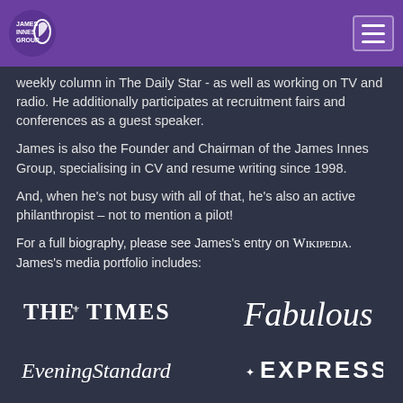James Innes Group [logo] [menu]
weekly column in The Daily Star - as well as working on TV and radio. He additionally participates at recruitment fairs and conferences as a guest speaker.
James is also the Founder and Chairman of the James Innes Group, specialising in CV and resume writing since 1998.
And, when he's not busy with all of that, he's also an active philanthropist – not to mention a pilot!
For a full biography, please see James's entry on Wikipedia. James's media portfolio includes:
[Figure (logo): The Times logo]
[Figure (logo): Fabulous magazine logo]
[Figure (logo): Evening Standard logo]
[Figure (logo): Express newspaper logo]